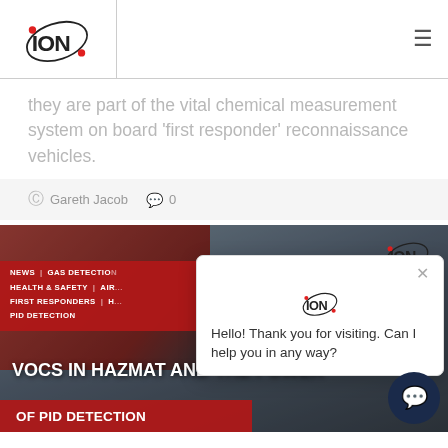[Figure (logo): ION Science logo in header]
they are part of the vital chemical measurement system on board ‘first responder’ reconnaissance vehicles.
Gareth Jacob  💬 0
[Figure (photo): Article card showing firefighters and a red fire truck with overlay text: NEWS | GAS DETECTION | HEALTH & SAFETY | AIR... | FIRST RESPONDERS | H... | PID DETECTION. Title: VOCs IN HAZMAT AND THE POWER OF PID DETECTION. Chat popup with ION logo and message: Hello! Thank you for visiting. Can I help you in any way?]